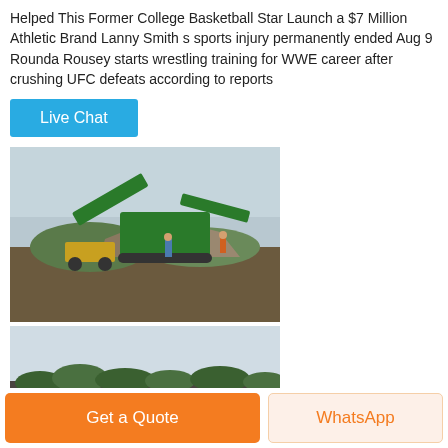Helped This Former College Basketball Star Launch a $7 Million Athletic Brand Lanny Smith s sports injury permanently ended Aug 9 Rounda Rousey starts wrestling training for WWE career after crushing UFC defeats according to reports
Live Chat
[Figure (photo): Green industrial rock crushing / screening machine operating at an outdoor quarry or mining site, with two workers visible nearby and piles of aggregate material around]
[Figure (photo): Green conveyor/screening equipment positioned in a rock quarry with steep rocky walls and a yellow loader in the background]
Get a Quote
WhatsApp